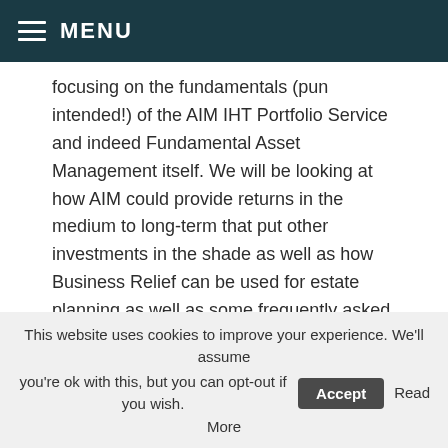MENU
focusing on the fundamentals (pun intended!) of the AIM IHT Portfolio Service and indeed Fundamental Asset Management itself. We will be looking at how AIM could provide returns in the medium to long-term that put other investments in the shade as well as how Business Relief can be used for estate planning as well as some frequently asked questions around costs and a number of practical processes.
This week, The Fundamentals brings you a video we have put together; Fundamental Asset Management – An Introduction.
Topics covered include:
Who Are We?
This website uses cookies to improve your experience. We'll assume you're ok with this, but you can opt-out if you wish.
Accept
Read More